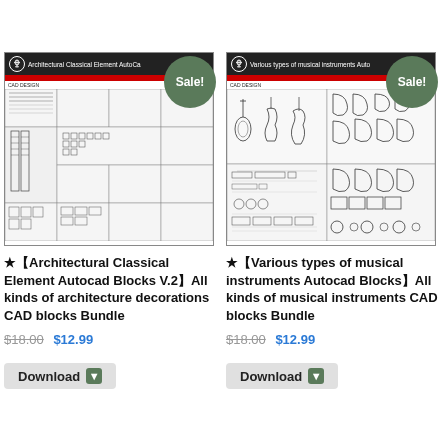[Figure (screenshot): Download button with green arrow icon]
[Figure (illustration): Architectural Classical Element AutoCAD Blocks product image showing various architectural CAD drawings with Sale! badge]
★【Architectural Classical Element Autocad Blocks V.2】All kinds of architecture decorations CAD blocks Bundle
$18.00 $12.99
[Figure (screenshot): Download button at bottom left]
[Figure (illustration): Various types of musical instruments AutoCAD Blocks product image with Sale! badge]
★【Various types of musical instruments Autocad Blocks】All kinds of musical instruments CAD blocks Bundle
$18.00 $12.99
[Figure (screenshot): Download button at bottom right]